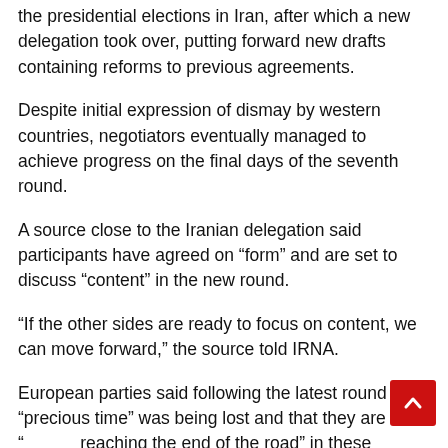the presidential elections in Iran, after which a new delegation took over, putting forward new drafts containing reforms to previous agreements.
Despite initial expression of dismay by western countries, negotiators eventually managed to achieve progress on the final days of the seventh round.
A source close to the Iranian delegation said participants have agreed on “form” and are set to discuss “content” in the new round.
“If the other sides are ready to focus on content, we can move forward,” the source told IRNA.
European parties said following the latest round that “precious time” was being lost and that they are “rapidly reaching the end of the road” in these negotiations